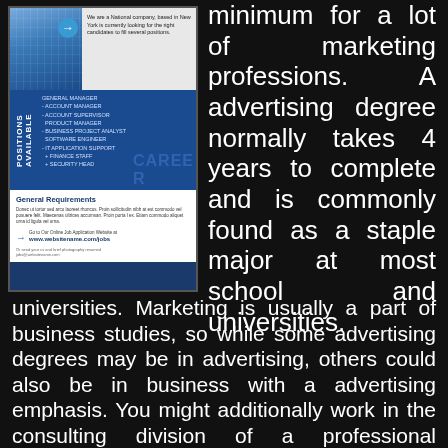[Figure (other): A job posting flyer showing 'Positions Available' with a list of roles including General Manager, Account Manager, Account Supervisor, Product Manager, Business Project Analyst, Software Engineer, IT Application Support, Finance Staff, Security Head. Below is a 'General Requirements' section with website www.websitename.com/jobs]
minimum for a lot of marketing professions. A advertising degree normally takes 4 years to complete and is commonly found as a staple major at most school and universities. Marketing is usually a part of business studies, so while some advertising degrees may be in advertising, others could also be in business with a advertising emphasis. You might additionally work in the consulting division of a professional companies firm corresponding to one of many 'Big four' (Deloitte, EY, KPMG and PwC), where consulting shall be certainl